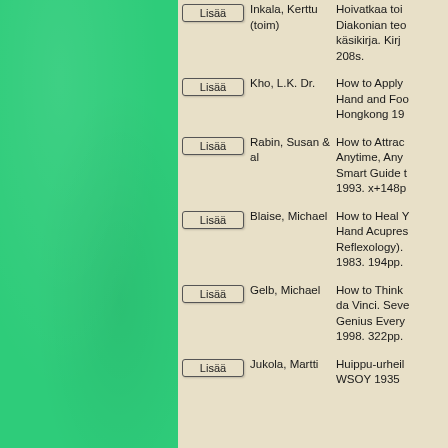Lisää | Inkala, Kerttu (toim) | Hoivatkaa toisianne. Diakonian teologinen käsikirja. Kirj... 208s.
Lisää | Kho, L.K. Dr. | How to Apply... Hand and Foot... Hongkong 19...
Lisää | Rabin, Susan & al | How to Attract... Anytime, Any... Smart Guide t... 1993. x+148p...
Lisää | Blaise, Michael | How to Heal Y... Hand Acupres... Reflexology)... 1983. 194pp.
Lisää | Gelb, Michael | How to Think... da Vinci. Seve... Genius Every... 1998. 322pp.
Lisää | Jukola, Martti | Huippu-urheil... WSOY 1935...